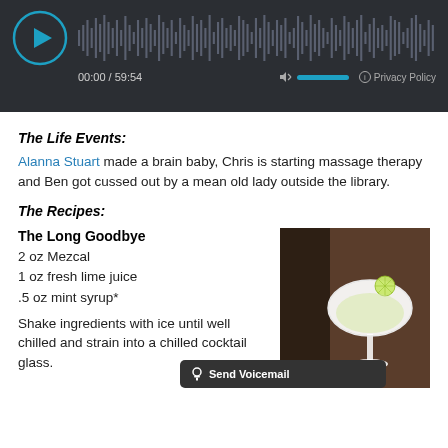[Figure (screenshot): Audio player widget with dark background, play button circle, waveform visualization, time display '00:00 / 59:54', volume control, and Privacy Policy link]
The Life Events:
Alanna Stuart made a brain baby, Chris is starting massage therapy and Ben got cussed out by a mean old lady outside the library.
The Recipes:
The Long Goodbye
2 oz Mezcal
1 oz fresh lime juice
.5 oz mint syrup*
Shake ingredients with ice until well chilled and strain into a chilled cocktail glass.
[Figure (photo): A white cocktail in a coupe glass garnished with a lime wheel, shot on a dark wood bar surface]
Send Voicemail